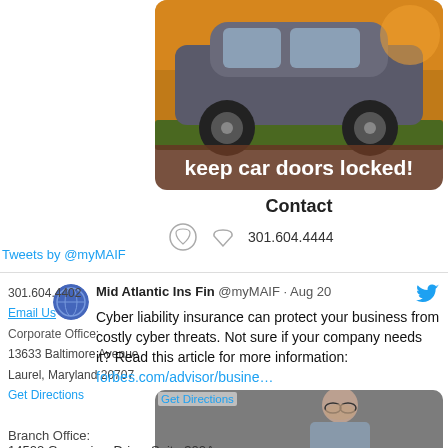[Figure (photo): SUV car photo with golden sunset background and brown overlay banner reading 'keep car doors locked!']
Contact
301.604.4444
Tweets by @myMAIF
301.604.4402
Mid Atlantic Ins Fin @myMAIF · Aug 20
Cyber liability insurance can protect your business from costly cyber threats. Not sure if your company needs it? Read this article for more information: forbes.com/advisor/busine…
Email Us
Corporate Office:
13633 Baltimore Avenue
Laurel, Maryland 20707
Get Directions
[Figure (photo): Person rubbing their eyes/face, appears stressed, wearing glasses, in an office setting]
Branch Office:
14502 Greenview Drive, Suite 300A
Laurel, Maryland 20708
Get Directions